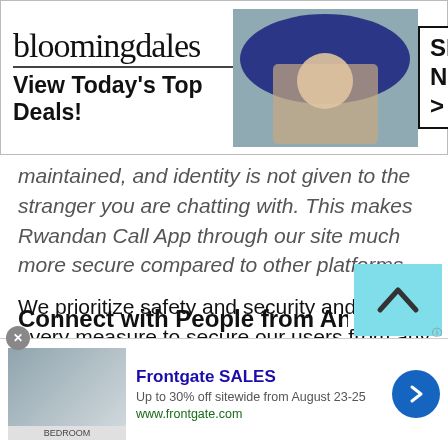[Figure (screenshot): Bloomingdales advertisement banner with logo, woman in hat, and SHOP NOW button]
maintained, and identity is not given to the stranger you are chatting with. This makes Rwandan Call App through our site much more secure compared to other platforms.
We prioritize safety and security and take every measure to secure our users from any invaders of hackers. We have blocked Ips and even countries where most cybercrimes have been reported to protect our users and their private information from getting into the hands of someone who might misuse it.
Connect with People from Any Part of the
[Figure (screenshot): Frontgate SALES advertisement banner. Up to 30% off sitewide from August 23-25. www.frontgate.com]